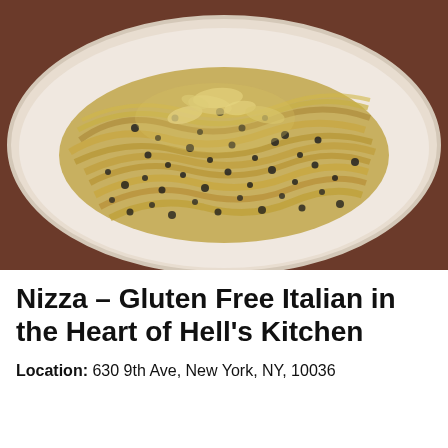[Figure (photo): A plate of fettuccine pasta with black pepper and grated parmesan cheese on a white oval plate, photographed from slightly above in warm restaurant lighting.]
Nizza – Gluten Free Italian in the Heart of Hell's Kitchen
Location: 630 9th Ave, New York, NY, 10036
Phone: (212) 256-1260